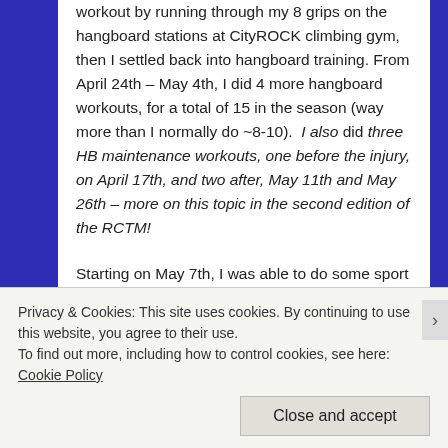workout by running through my 8 grips on the hangboard stations at CityROCK climbing gym, then I settled back into hangboard training. From April 24th – May 4th, I did 4 more hangboard workouts, for a total of 15 in the season (way more than I normally do ~8-10).  I also did three HB maintenance workouts, one before the injury, on April 17th, and two after, May 11th and May 26th – more on this topic in the second edition of the RCTM!
Starting on May 7th, I was able to do some sport climbing (my ankle was strong enough), and I aimed for fingery/bouldery routes because this was replacing what would normally be campusing and limit bouldering. We went to Shelf Road, and I climbed...
Privacy & Cookies: This site uses cookies. By continuing to use this website, you agree to their use.
To find out more, including how to control cookies, see here: Cookie Policy